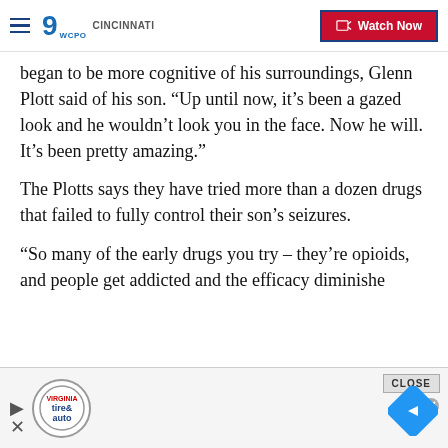WCPO 9 Cincinnati — Watch Now
began to be more cognitive of his surroundings, Glenn Plott said of his son. “Up until now, it’s been a gazed look and he wouldn’t look you in the face. Now he will. It’s been pretty amazing.”
The Plotts says they have tried more than a dozen drugs that failed to fully control their son’s seizures.
“So many of the early drugs you try – they’re opioids, and people get addicted and the efficacy diminishe
[Figure (screenshot): Advertisement bar at bottom with Virginia tire and auto logo, play button, close button, and navigation diamond icon]